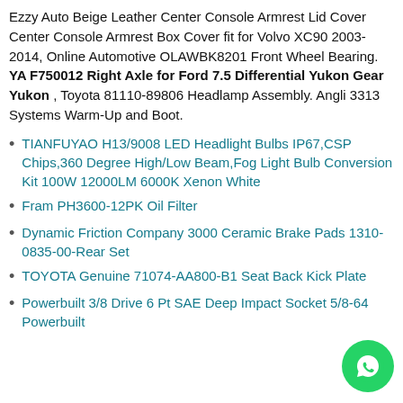Ezzy Auto Beige Leather Center Console Armrest Lid Cover Center Console Armrest Box Cover fit for Volvo XC90 2003-2014, Online Automotive OLAWBK8201 Front Wheel Bearing. YA F750012 Right Axle for Ford 7.5 Differential Yukon Gear Yukon , Toyota 81110-89806 Headlamp Assembly. Angli 3313 Systems Warm-Up and Boot.
TIANFUYAO H13/9008 LED Headlight Bulbs IP67,CSP Chips,360 Degree High/Low Beam,Fog Light Bulb Conversion Kit 100W 12000LM 6000K Xenon White
Fram PH3600-12PK Oil Filter
Dynamic Friction Company 3000 Ceramic Brake Pads 1310-0835-00-Rear Set
TOYOTA Genuine 71074-AA800-B1 Seat Back Kick Plate
Powerbuilt 3/8 Drive 6 Pt SAE Deep Impact Socket 5/8-64 Powerbuilt